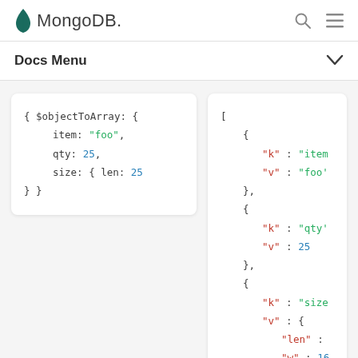MongoDB
Docs Menu
[Figure (screenshot): Left code box showing $objectToArray aggregation input document with fields item: "foo", qty: 25, size: { len: 25... } }]
[Figure (screenshot): Right code box showing output array result with objects containing k/v pairs: {"k":"item","v":"foo"}, {"k":"qty","v":25}, {"k":"size","v":{"len":...}}]